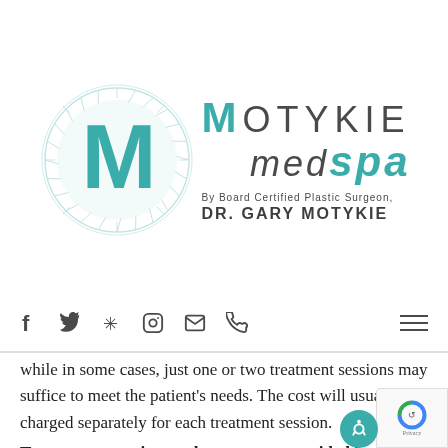[Figure (logo): Motykie MedSpa logo with circular M emblem and text 'MOTYKIE medspa By Board Certified Plastic Surgeon, DR. GARY MOTYKIE']
[Figure (screenshot): Navigation bar with social media icons (Facebook, Twitter, Yelp, Instagram, Email, Phone) and hamburger menu]
while in some cases, just one or two treatment sessions may suffice to meet the patient's needs. The cost will usually be charged separately for each treatment session.
To see more services and treatments provided by Plastic Surgeon, Dr. Motykie...